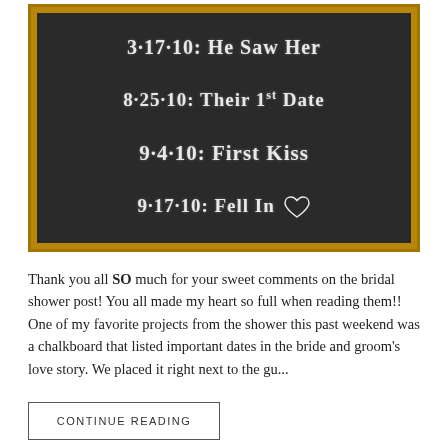[Figure (photo): A chalkboard with a gold/wooden frame listing important dates in a couple's love story. Text reads: 3-17-10: HE SAW HER / 8-25-10: THEIR 1st DATE / 9-4-10: FIRST Kiss / 9-17-10: FELL IN [heart symbol]]
Thank you all SO much for your sweet comments on the bridal shower post! You all made my heart so full when reading them!! One of my favorite projects from the shower this past weekend was a chalkboard that listed important dates in the bride and groom's love story. We placed it right next to the gu...
CONTINUE READING